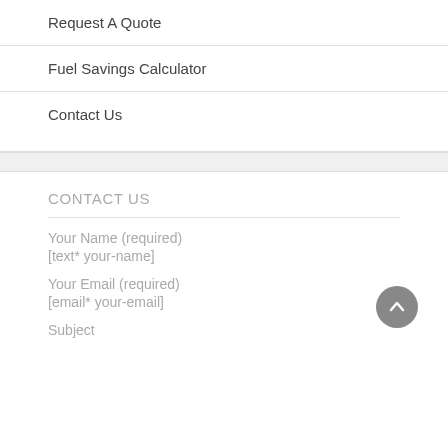Request A Quote
Fuel Savings Calculator
Contact Us
CONTACT US
Your Name (required)
[text* your-name]
Your Email (required)
[email* your-email]
Subject